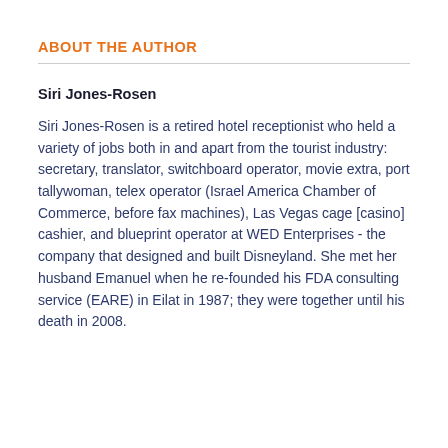ABOUT THE AUTHOR
Siri Jones-Rosen
Siri Jones-Rosen is a retired hotel receptionist who held a variety of jobs both in and apart from the tourist industry: secretary, translator, switchboard operator, movie extra, port tallywoman, telex operator (Israel America Chamber of Commerce, before fax machines), Las Vegas cage [casino] cashier, and blueprint operator at WED Enterprises - the company that designed and built Disneyland. She met her husband Emanuel when he re-founded his FDA consulting service (EARE) in Eilat in 1987; they were together until his death in 2008.